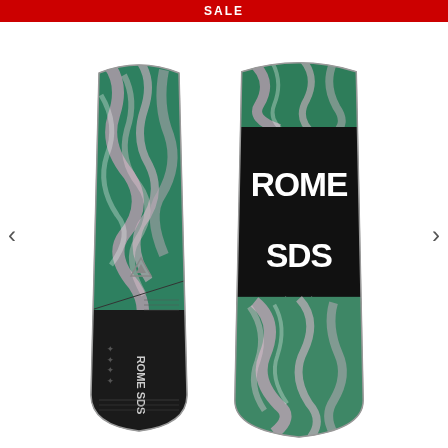SALE
[Figure (photo): Two Rome SDS snowboards shown side by side. Left board shows the top deck with a teal/green and pink marble pattern on upper portion and black lower section, with Rome SDS branding. Right board shows the base/bottom with black band featuring large white 'ROME SDS' text and stars, surrounding teal/green and pink marble pattern.]